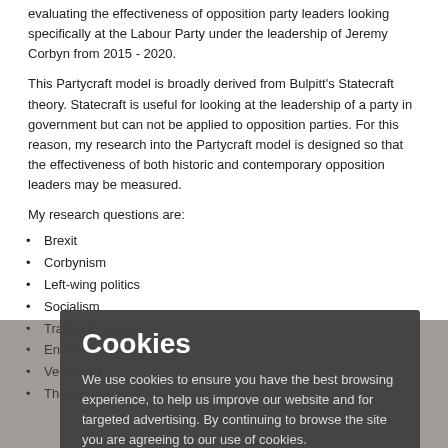evaluating the effectiveness of opposition party leaders looking specifically at the Labour Party under the leadership of Jeremy Corbyn from 2015 - 2020.
This Partycraft model is broadly derived from Bulpitt's Statecraft theory. Statecraft is useful for looking at the leadership of a party in government but can not be applied to opposition parties. For this reason, my research into the Partycraft model is designed so that the effectiveness of both historic and contemporary opposition leaders may be measured.
My research questions are:
Brexit
Corbynism
Left-wing politics
Socialism
Trade Unionism
Environmentalism
Veganism
The UK Labour Party